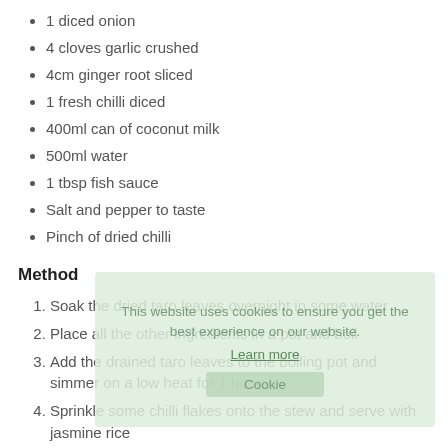1 diced onion
4 cloves garlic crushed
4cm ginger root sliced
1 fresh chilli diced
400ml can of coconut milk
500ml water
1 tbsp fish sauce
Salt and pepper to taste
Pinch of dried chilli
Method
Soak the dried taro leaves overnight in some water
Place all the other ingredients in a pot and boil
Add the drained taro leaves to the boiling pot and simmer on a low heat for 1 hour
Sprinkle some chilli flakes onto the stew and serve with jasmine rice